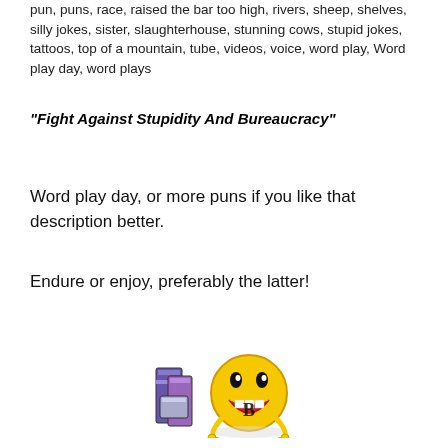pun, puns, race, raised the bar too high, rivers, sheep, shelves, silly jokes, sister, slaughterhouse, stunning cows, stupid jokes, tattoos, top of a mountain, tube, videos, voice, word play, Word play day, word plays
“Fight Against Stupidity And Bureaucracy”
Word play day, or more puns if you like that description better.
Endure or enjoy, preferably the latter!
[Figure (illustration): Cartoon illustration of a laughing emoji / smiley face with books or objects beside it, colored yellow, black, red, and purple/blue.]